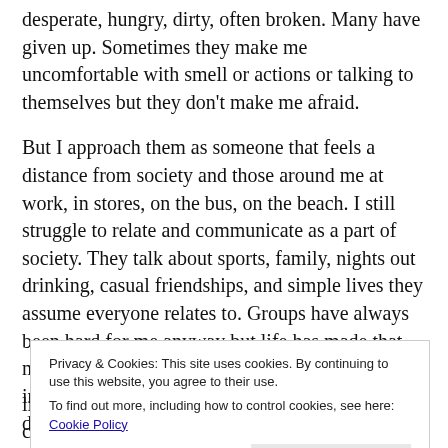desperate, hungry, dirty, often broken. Many have given up. Sometimes they make me uncomfortable with smell or actions or talking to themselves but they don't make me afraid.
But I approach them as someone that feels a distance from society and those around me at work, in stores, on the bus, on the beach. I still struggle to relate and communicate as a part of society. They talk about sports, family, nights out drinking, casual friendships, and simple lives they assume everyone relates to. Groups have always been hard for me anyway but life has made that more true rather than less. My degree was gained in classes with students half my age. My family is distant, callous and judgmental. Friends are far away. I worked
Privacy & Cookies: This site uses cookies. By continuing to use this website, you agree to their use.
To find out more, including how to control cookies, see here: Cookie Policy
living. I remember mom sitting in the car calculating how she